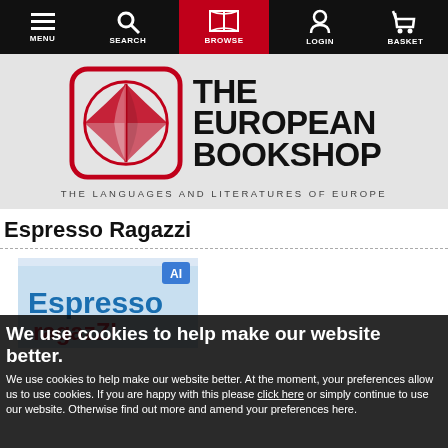MENU | SEARCH | BROWSE | LOGIN | BASKET
[Figure (logo): The European Bookshop logo with open book icon and tagline 'THE LANGUAGES AND LITERATURES OF EUROPE']
Espresso Ragazzi
[Figure (photo): Book cover of Espresso Ragazzi showing the title in blue and red text]
We use cookies to help make our website better.
We use cookies to help make our website better. At the moment, your preferences allow us to use cookies. If you are happy with this please click here or simply continue to use our website. Otherwise find out more and amend your preferences here.